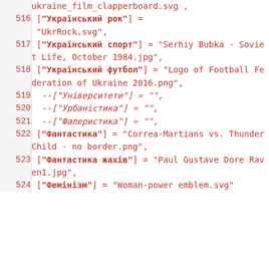ukraine_film_clapperboard.svg ,
516  ["Український рок"] = "UkrRock.svg",
517  ["Український спорт"] = "Serhiy Bubka - Soviet Life, October 1984.jpg",
518  ["Український футбол"] = "Logo of Football Federation of Ukraine 2016.png",
519  --["Університети"] = "",
520  --["Урбаністика"] = "",
521  --["Фалеристика"] = "",
522  ["Фантастика"] = "Correa-Martians vs. Thunder Child - no border.png",
523  ["Фантастика жахів"] = "Paul Gustave Dore Raven1.jpg",
524  ["Фемінізм"] = "Woman-power emblem.svg"